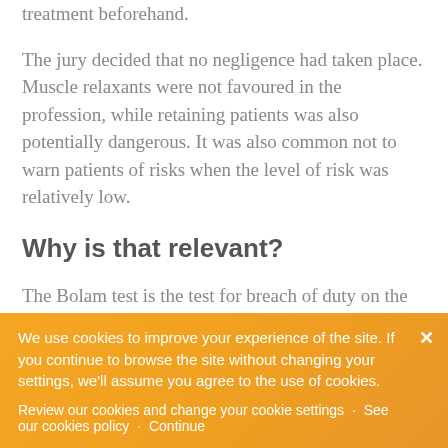treatment beforehand.
The jury decided that no negligence had taken place. Muscle relaxants were not favoured in the profession, while retaining patients was also potentially dangerous. It was also common not to warn patients of risks when the level of risk was relatively low.
Why is that relevant?
The Bolam test is the test for breach of duty on the part of medical professionals. The Bolam test stipulates that a doctor is not negligent if he/she acts in accordance with a practice...
We use cookies to improve your experience of the site. If you continue to browse the site without changing your settings, we'll assume you agree to the use of cookies.
Review our cookies and change your cookie settings · See our cookies policy · Continue